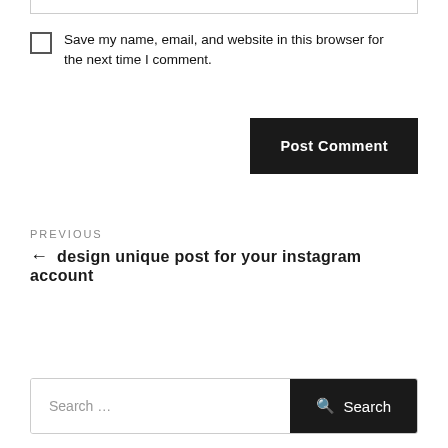Save my name, email, and website in this browser for the next time I comment.
Post Comment
PREVIOUS
← design unique post for your instagram account
Search …